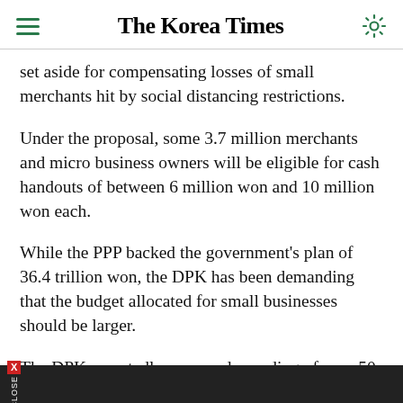The Korea Times
set aside for compensating losses of small merchants hit by social distancing restrictions.
Under the proposal, some 3.7 million merchants and micro business owners will be eligible for cash handouts of between 6 million won and 10 million won each.
While the PPP backed the government's plan of 36.4 trillion won, the DPK has been demanding that the budget allocated for small businesses should be larger.
The DPK reportedly proposed spending of over 50